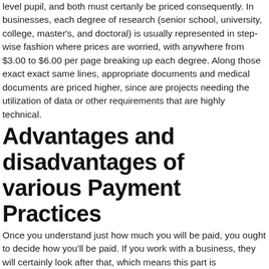level pupil, and both must certanly be priced consequently. In businesses, each degree of research (senior school, university, college, master's, and doctoral) is usually represented in step-wise fashion where prices are worried, with anywhere from $3.00 to $6.00 per page breaking up each degree. Along those exact exact same lines, appropriate documents and medical documents are priced higher, since are projects needing the utilization of data or other requirements that are highly technical.
Advantages and disadvantages of various Payment Practices
Once you understand just how much you will be paid, you ought to decide how you'll be paid. If you work with a business, they will certainly look after that, which means this part is unimportant. In the event that you work with your self, but, it is crucial to understand the good qualities and cons of each and every type.
First, get used to the known proven fact that you need to accept